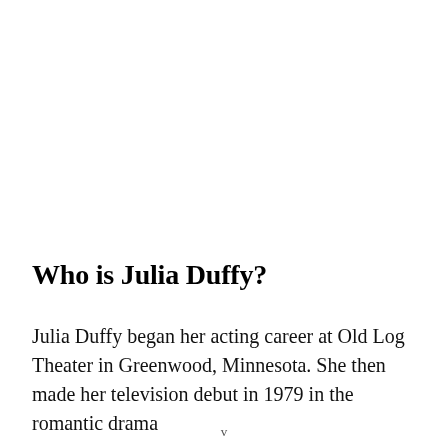Who is Julia Duffy?
Julia Duffy began her acting career at Old Log Theater in Greenwood, Minnesota. She then made her television debut in 1979 in the romantic drama
v